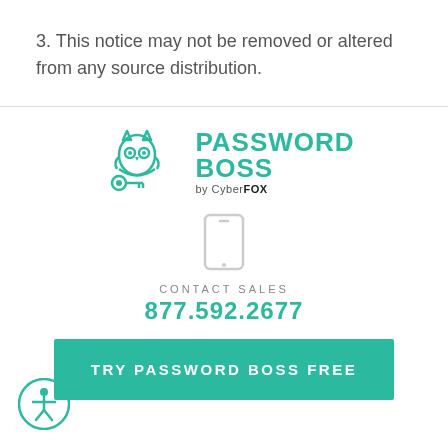3. This notice may not be removed or altered from any source distribution.
[Figure (logo): Password Boss by CyberFOX logo with teal owl/key icon]
[Figure (illustration): Teal outline smartphone icon]
CONTACT SALES
877.592.2677
TRY PASSWORD BOSS FREE
[Figure (illustration): Accessibility circle icon with human figure]